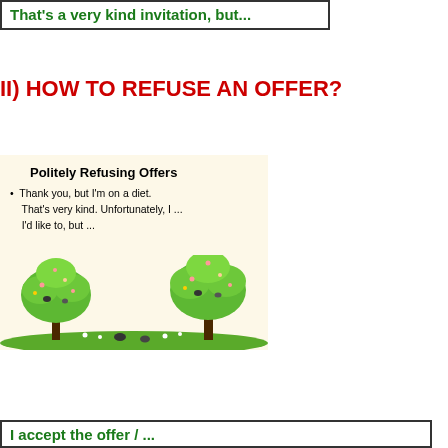That's a very kind invitation, but...
II) HOW TO REFUSE AN OFFER?
[Figure (illustration): A slide titled 'Politely Refusing Offers' with bullet points: 'Thank you, but I'm on a diet. That's very kind. Unfortunately, I ... I'd like to, but ...' and decorative tree illustrations at the bottom on a beige background.]
I accept the offer / ...